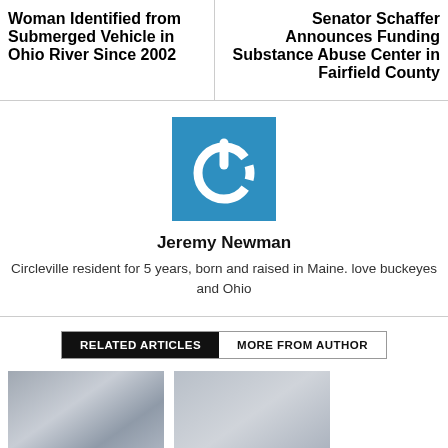Woman Identified from Submerged Vehicle in Ohio River Since 2002
Senator Schaffer Announces Funding Substance Abuse Center in Fairfield County
[Figure (logo): Blue square with white power button icon]
Jeremy Newman
Circleville resident for 5 years, born and raised in Maine. love buckeyes and Ohio
RELATED ARTICLES
MORE FROM AUTHOR
[Figure (photo): Thumbnail image 1 - blurred building photo]
[Figure (photo): Thumbnail image 2 - blurred photo]